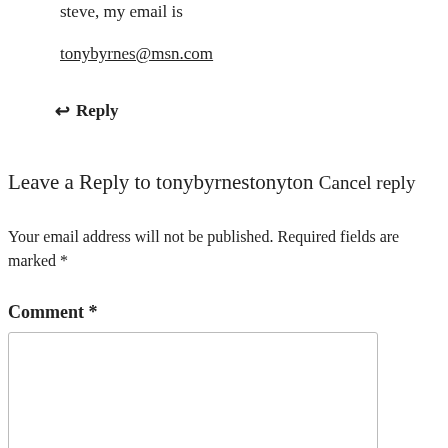steve, my email is
tonybyrnes@msn.com
↩ Reply
Leave a Reply to tonybyrnestonyton Cancel reply
Your email address will not be published. Required fields are marked *
Comment *
[Figure (other): Empty comment text area input box]